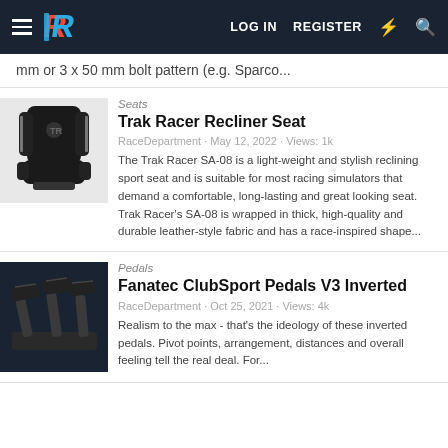LOG IN  REGISTER
mm or 3 x 50 mm bolt pattern (e.g. Sparco...
[Figure (photo): Racing seat product photo - black Trak Racer recliner seat]
Seats
Trak Racer Recliner Seat
RaceDepartment · May 12, 2022 · Views: 1k
The Trak Racer SA-08 is a light-weight and stylish reclining sport seat and is suitable for most racing simulators that demand a comfortable, long-lasting and great looking seat. Trak Racer's SA-08 is wrapped in thick, high-quality and durable leather-style fabric and has a race-inspired shape...
[Figure (photo): Fanatec ClubSport Pedals V3 Inverted product photo on dark background]
Pedals
Fanatec ClubSport Pedals V3 Inverted
RaceDepartment · Oct 25, 2021 · Views: 4k
Realism to the max - that's the ideology of these inverted pedals. Pivot points, arrangement, distances and overall feeling tell the real deal. For...